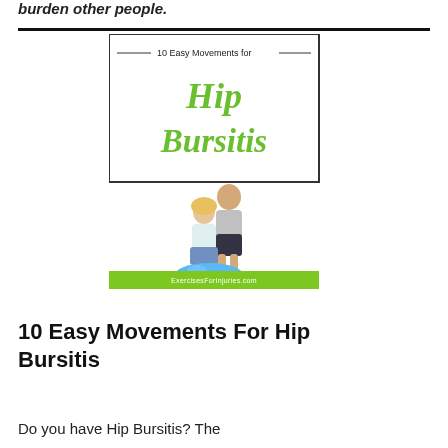burden other people.
[Figure (illustration): Book cover for '10 Easy Movements for Hip Bursitis' showing two elderly people, a man standing behind a woman sitting on an exercise ball, with the website ExercisesForInjuries.com at the bottom on a green banner.]
10 Easy Movements For Hip Bursitis
Do you have Hip Bursitis? The